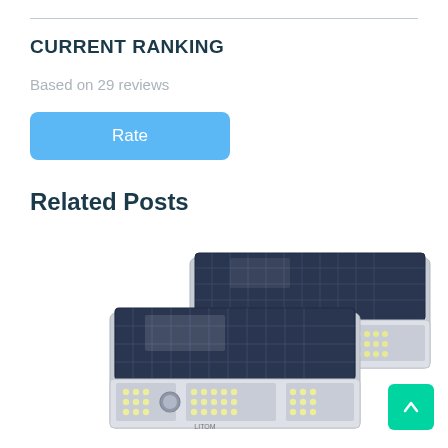CURRENT RANKING
Based on 29 reviews
Rate
Related Posts
[Figure (photo): Two solar-powered LED security lights with motion sensor, shown from a front-angled perspective. Lights have large solar panels on top and multiple LED arrays on the front face.]